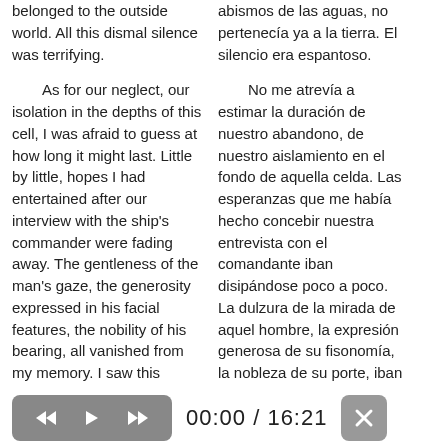belonged to the outside world. All this dismal silence was terrifying.
As for our neglect, our isolation in the depths of this cell, I was afraid to guess at how long it might last. Little by little, hopes I had entertained after our interview with the ship's commander were fading away. The gentleness of the man's gaze, the generosity expressed in his facial features, the nobility of his bearing, all vanished from my memory. I saw this mystifying individual anew for what he inevitably must be: cruel and merciless. I viewed him as
abismos de las aguas, no pertenecía ya a la tierra. El silencio era espantoso.
No me atrevía a estimar la duración de nuestro abandono, de nuestro aislamiento en el fondo de aquella celda. Las esperanzas que me había hecho concebir nuestra entrevista con el comandante iban disipándose poco a poco. La dulzura de la mirada de aquel hombre, la expresión generosa de su fisonomía, la nobleza de su porte, iban desapareciendo de mi memoria. Volvía a ver al enigmático personaje, sí, pero tal como debía ser,
[Figure (other): Media player bar with rewind, play, fast-forward controls, time display showing 00:00 / 16:21, and a close button]